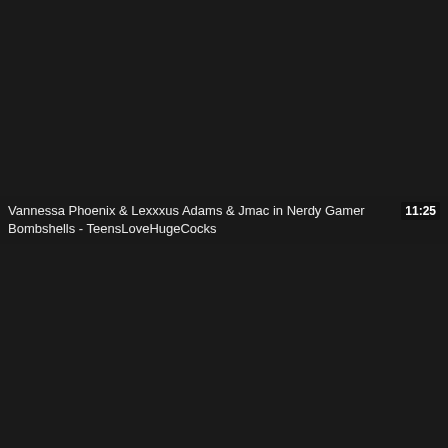[Figure (screenshot): Dark background video thumbnail area]
Vannessa Phoenix & Lexxxus Adams & Jmac in Nerdy Gamer Bombshells - TeensLoveHugeCocks
11:25